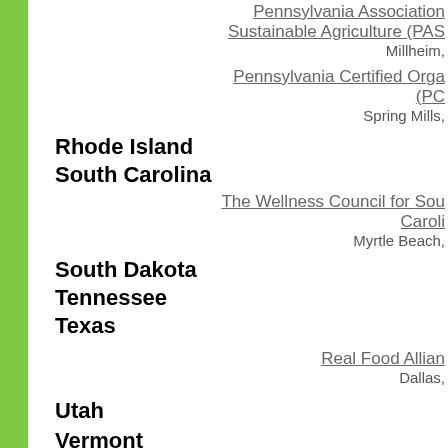Pennsylvania Association Sustainable Agriculture (PAS Millheim,
Pennsylvania Certified Orga (PC Spring Mills,
Rhode Island
South Carolina
The Wellness Council for Sou Caroli Myrtle Beach,
South Dakota
Tennessee
Texas
Real Food Allian Dallas,
Utah
Vermont